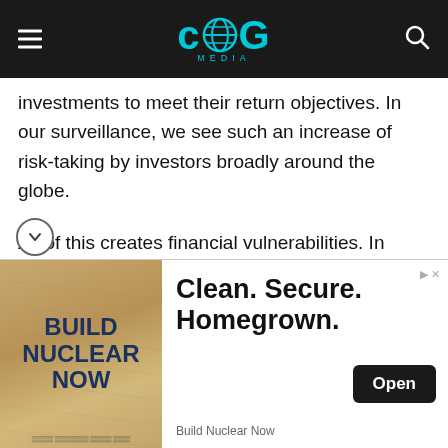CNG MEDIA
investments to meet their return objectives. In our surveillance, we see such an increase of risk-taking by investors broadly around the globe.
All of this creates financial vulnerabilities. In some countries, firms are using low rates and building up debt to fund mergers and acquisitions instead of investing.
Our new analysis shows that if a major downturn occurs, corporate debt at risk of default would rise to $19 trillion, or nearly 40 percent of the total debt in eight major economies. this is above the levels seen during the financial crisis
[Figure (other): Advertisement banner: Build Nuclear Now — Clean. Secure. Homegrown. with Open button]